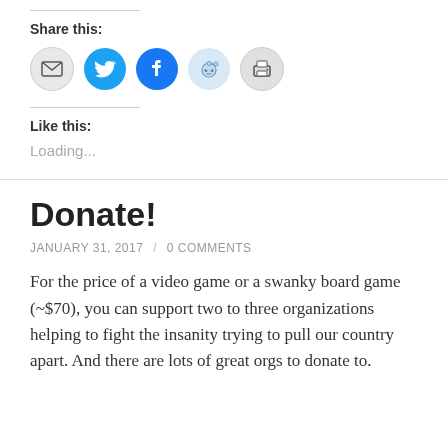Share this:
[Figure (infographic): Social sharing icons: email (grey circle), Twitter (blue circle with bird), Facebook (blue circle with f), Reddit (light blue circle with alien), Print (grey circle with printer)]
Like this:
Loading...
Donate!
JANUARY 31, 2017 / 0 COMMENTS
For the price of a video game or a swanky board game (~$70), you can support two to three organizations helping to fight the insanity trying to pull our country apart. And there are lots of great orgs to donate to.